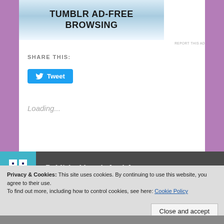[Figure (screenshot): Tumblr ad-free browsing banner with blue sky/wave background and bold black text reading TUMBLR AD-FREE BROWSING]
REPORT THIS AD
SHARE THIS:
[Figure (screenshot): Twitter Tweet button in blue with bird icon]
Loading...
Published by witchyrichey
Privacy & Cookies: This site uses cookies. By continuing to use this website, you agree to their use.
To find out more, including how to control cookies, see here: Cookie Policy
Close and accept